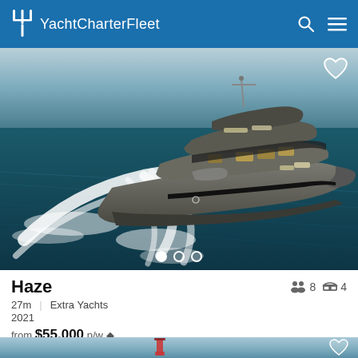YachtCharterFleet
[Figure (photo): Aerial view of a large motor yacht named Haze underway, creating a white wake on dark teal water. The yacht has a dark grey hull, multiple decks, and a flybridge.]
Haze
27m  Extra Yachts
2021
from $55,000 p/w ◆